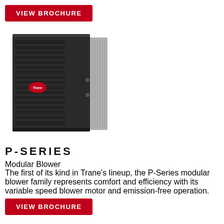[Figure (photo): Red VIEW BROCHURE button at top left]
[Figure (photo): Trane P-Series modular blower furnace unit, dark charcoal/grey cabinet with side panel]
P-SERIES
Modular Blower
The first of its kind in Trane’s lineup, the P-Series modular blower family represents comfort and efficiency with its variable speed blower motor and emission-free operation.
Variable Blower Speed
[Figure (photo): Red VIEW BROCHURE button at bottom left]